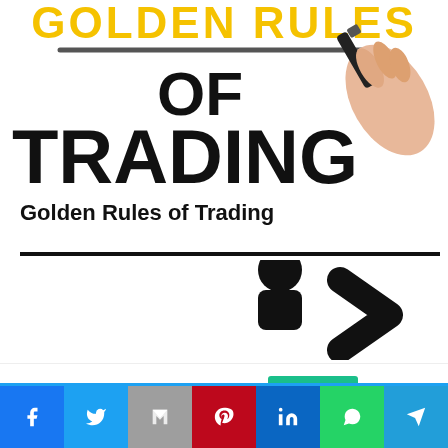[Figure (photo): Photo of a hand writing 'Golden Rules of Trading' with a marker on a white surface. The words 'GOLDEN RULES' appear in yellow at top, 'OF' in large black text, and 'TRADING' in very large bold black text. A hand holding a black marker is visible on the right.]
Golden Rules of Trading
[Figure (photo): Partial view of a figure/icon showing a person or arrow symbol in black, cropped at the bottom of the content area.]
This website uses cookies.
[Figure (infographic): Social sharing bar with icons for Facebook, Twitter, Gmail/Google, Pinterest, LinkedIn, WhatsApp, and Telegram]